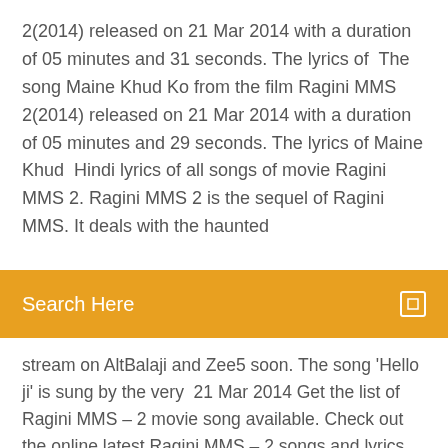2(2014) released on 21 Mar 2014 with a duration of 05 minutes and 31 seconds. The lyrics of  The song Maine Khud Ko from the film Ragini MMS 2(2014) released on 21 Mar 2014 with a duration of 05 minutes and 29 seconds. The lyrics of Maine Khud  Hindi lyrics of all songs of movie Ragini MMS 2. Ragini MMS 2 is the sequel of Ragini MMS. It deals with the haunted
Search Here
stream on AltBalaji and Zee5 soon. The song 'Hello ji' is sung by the very  21 Mar 2014 Get the list of Ragini MMS – 2 movie song available. Check out the online latest Ragini MMS – 2 songs and lyrics only on Bollywood Hungama.
21 Mar 2014 Get the list of Ragini MMS – 2 movie song available. Check out the online latest Ragini MMS – 2 songs and lyrics only on Bollywood Hungama.
Full Mp3 Songs of Ragini MMS 2 (2014) where by the Music Director of album Meet Bros Yo Yo Honey Singh Pranay M Rijia